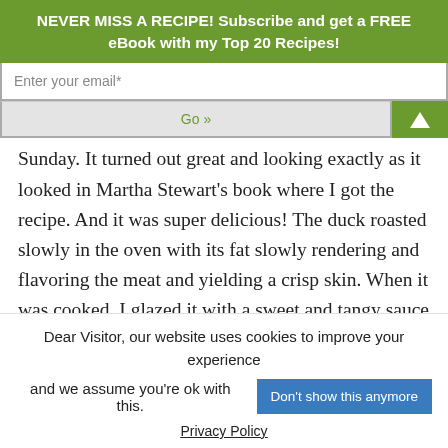NEVER MISS A RECIPE! Subscribe and get a FREE eBook with my Top 20 Recipes!
Sunday. It turned out great and looking exactly as it looked in Martha Stewart's book where I got the recipe. And it was super delicious! The duck roasted slowly in the oven with its fat slowly rendering and flavoring the meat and yielding a crisp skin. When it was cooked, I glazed it with a sweet and tangy sauce made with
Dear Visitor, our website uses cookies to improve your experience and we assume you're ok with this.
Don't show this anymore
Privacy Policy